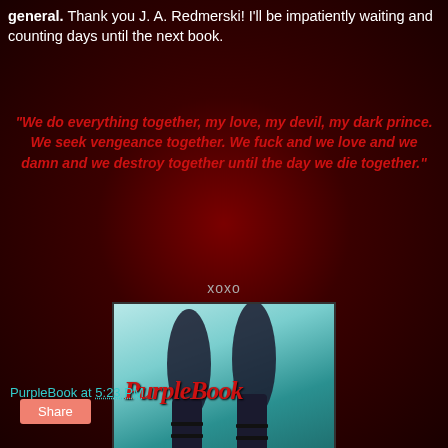general. Thank you J. A. Redmerski! I'll be impatiently waiting and counting days until the next book.
"We do everything together, my love, my devil, my dark prince. We seek vengeance together. We fuck and we love and we damn and we destroy together until the day we die together."
XOXO
[Figure (logo): PurpleBook blog logo showing woman's legs in high heels with teal/cyan background and red cursive PurpleBook text]
PurpleBook at 5:23 PM
Share